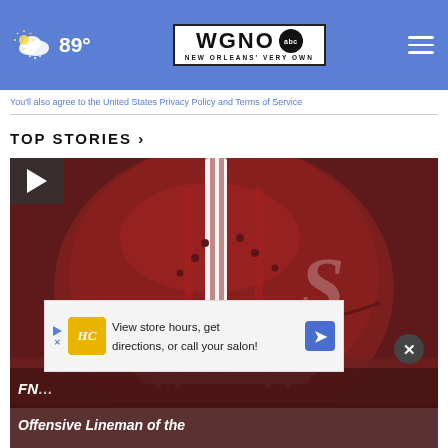89° WGNO abc NEW ORLEANS' VERY OWN
You'll also agree to the United States Privacy Policy and Terms of Service
TOP STORIES ›
[Figure (photo): Close-up of a maroon/dark red football helmet with white stripe and team logo, player wearing maroon jersey in background. Video play button overlay visible in top-left corner.]
FN... Offensive Lineman of the...